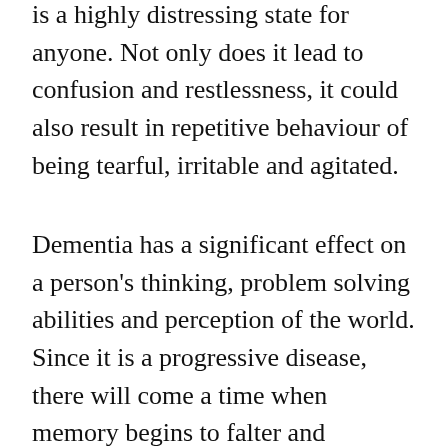is a highly distressing state for anyone. Not only does it lead to confusion and restlessness, it could also result in repetitive behaviour of being tearful, irritable and agitated.
Dementia has a significant effect on a person's thinking, problem solving abilities and perception of the world. Since it is a progressive disease, there will come a time when memory begins to falter and decision making becomes difficult. This is why it is